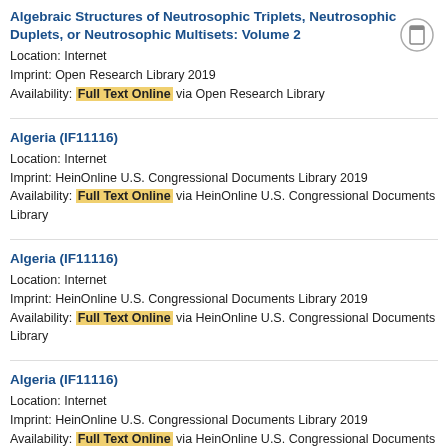Algebraic Structures of Neutrosophic Triplets, Neutrosophic Duplets, or Neutrosophic Multisets: Volume 2
Location: Internet
Imprint: Open Research Library 2019
Availability: Full Text Online via Open Research Library
Algeria (IF11116)
Location: Internet
Imprint: HeinOnline U.S. Congressional Documents Library 2019
Availability: Full Text Online via HeinOnline U.S. Congressional Documents Library
Algeria (IF11116)
Location: Internet
Imprint: HeinOnline U.S. Congressional Documents Library 2019
Availability: Full Text Online via HeinOnline U.S. Congressional Documents Library
Algeria (IF11116)
Location: Internet
Imprint: HeinOnline U.S. Congressional Documents Library 2019
Availability: Full Text Online via HeinOnline U.S. Congressional Documents Library
Algeria (IF11116)
Location: Internet
Imprint: HeinOnline U.S. Congressional Documents Library 2019